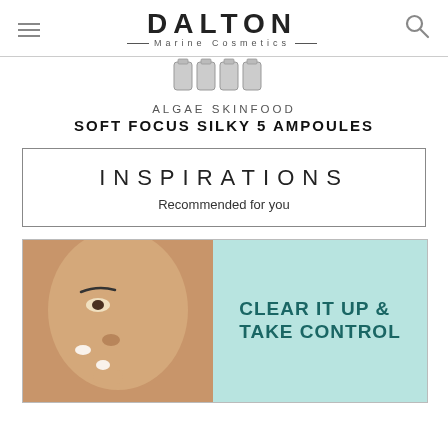DALTON — MARINE COSMETICS —
ALGAE SKINFOOD
SOFT FOCUS SILKY 5 AMPOULES
INSPIRATIONS
Recommended for you
[Figure (photo): Woman applying skincare cream to her face on a teal/light blue background with the text CLEAR IT UP & TAKE CONTROL]